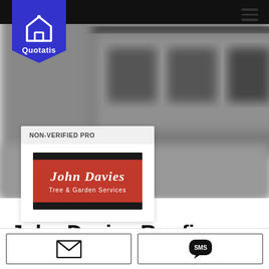[Figure (logo): Quotatis logo — blue pentagon badge with house icon and 'Quotatis' text]
[Figure (photo): Blurred background photo of a brick storefront building]
NON-VERIFIED PRO
[Figure (logo): John Davies Tree & Garden Services logo on red van — white script text]
John Davies Roofing
[Figure (illustration): Email envelope icon button]
[Figure (illustration): SMS speech bubble icon button]